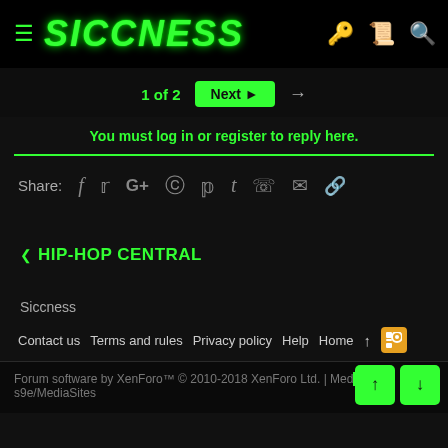SICCNESS
1 of 2  Next →
You must log in or register to reply here.
Share: f  y  G+  reddit  p  t  WhatsApp  email  link
‹ HIP-HOP CENTRAL
Siccness
Contact us  Terms and rules  Privacy policy  Help  Home  ↑  RSS
Forum software by XenForo™ © 2010-2018 XenForo Ltd. | Media embeds via s9e/MediaSites